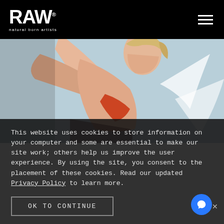RAW® natural born artists
[Figure (illustration): Digital illustration of a female figure with light skin and short blonde hair, posed dynamically on a pale blue background with white feather shapes. Drawn in a loose painterly style.]
This website uses cookies to store information on your computer and some are essential to make our site work; others help us improve the user experience. By using the site, you consent to the placement of these cookies. Read our updated Privacy Policy to learn more.
OK TO CONTINUE